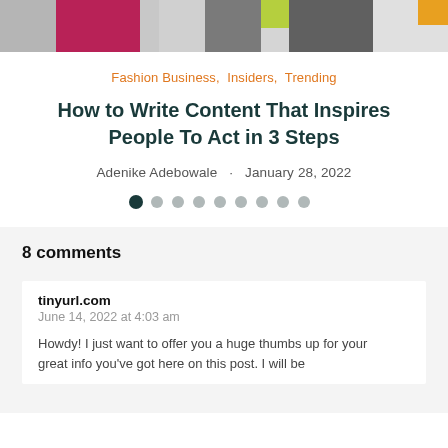[Figure (photo): Partial view of a fashion/magazine spread with pink, gray, olive, and orange color blocks]
Fashion Business,  Insiders,  Trending
How to Write Content That Inspires People To Act in 3 Steps
Adenike Adebowale · January 28, 2022
[Figure (other): Pagination dots row — first dot filled black, remaining dots gray]
8 comments
tinyurl.com
June 14, 2022 at 4:03 am

Howdy! I just want to offer you a huge thumbs up for your great info you've got here on this post. I will be